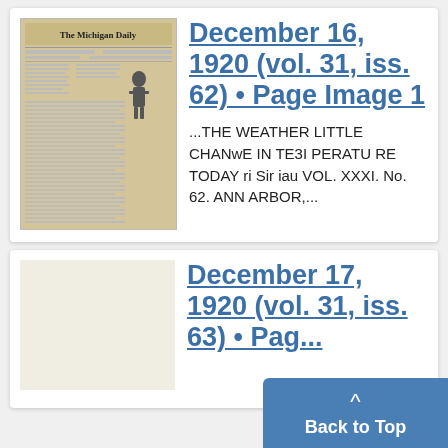[Figure (photo): Scanned front page of The Michigan Daily newspaper, aged yellowed paper with multiple columns of text and a figure/silhouette image]
December 16, 1920 (vol. 31, iss. 62) • Page Image 1
...THE WEATHER LITTLE CHANwE IN TE3I PERATU RE TODAY ri Sir iau VOL. XXXI. No. 62. ANN ARBOR,...
December 17, 1920 (vol. 31, iss. 63) • Pag...